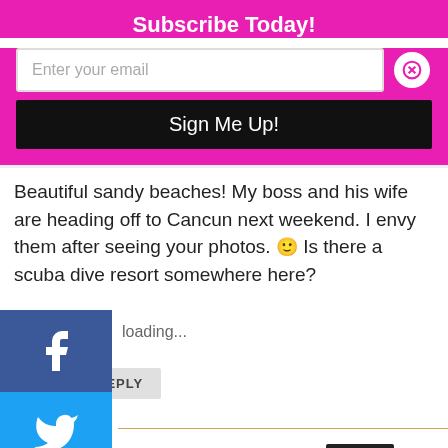Subscribe Today!
Enter your email
Sign Me Up!
Beautiful sandy beaches! My boss and his wife are heading off to Cancun next weekend. I envy them after seeing your photos. 🙂 Is there a scuba dive resort somewhere here?
loading...
REPLY
[Figure (screenshot): Social media share buttons: Facebook (blue), Twitter (light blue), RSS (orange), LinkedIn (dark blue), Instagram (pink), shown as vertical left sidebar]
Advertisements